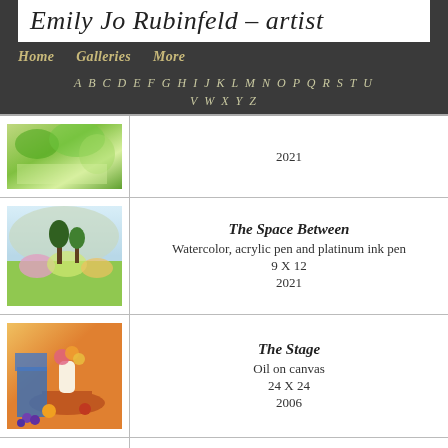Emily Jo Rubinfeld - artist
Home   Galleries   More
A B C D E F G H I J K L M N O P Q R S T U V W X Y Z
| Image | Details |
| --- | --- |
| [landscape painting] | 2021 |
| [landscape with flowers] | The Space Between
Watercolor, acrylic pen and platinum ink pen
9 X 12
2021 |
| [still life painting] | The Stage
Oil on canvas
24 X 24
2006 |
| [partial row] |  |